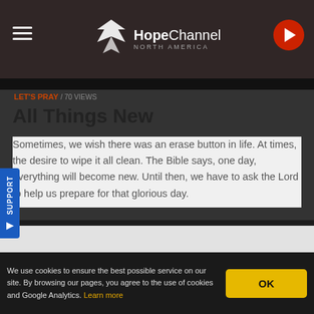HopeChannel NORTH AMERICA
LET'S PRAY 70 VIEWS
All Things New
Sometimes, we wish there was an erase button in life. At times, the desire to wipe it all clean. The Bible says, one day, everything will become new. Until then, we have to ask the Lord to help us prepare for that glorious day.
[Figure (screenshot): Video player placeholder area, light gray background]
We use cookies to ensure the best possible service on our site. By browsing our pages, you agree to the use of cookies and Google Analytics. Learn more
OK